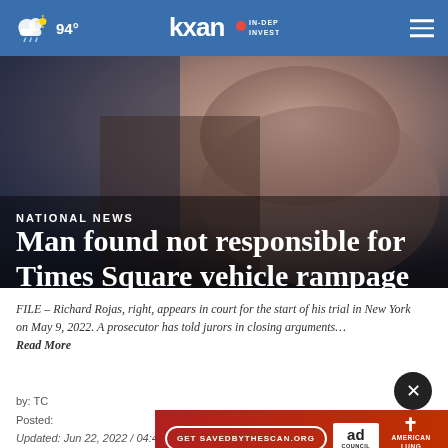94° KXAN IN-DEPTH INVESTIGATIVE
[Figure (photo): Blurred photo of a person (Richard Rojas) appearing in court, dark background with muted tones]
NATIONAL NEWS
Man found not responsible for Times Square vehicle rampage
FILE – Richard Rojas, right, appears in court for the start of his trial in New York on May 9, 2022. A prosecutor has told jurors in closing arguments…
Read More
by: TC
Posted:
Updated: Jun 22, 2022 / 04:46 PM CDT
[Figure (other): Advertisement banner: red background with 'Get SAVEDBYTHESCAN.ORG' button, Ad Council logo, and American Lung Association cross logo]